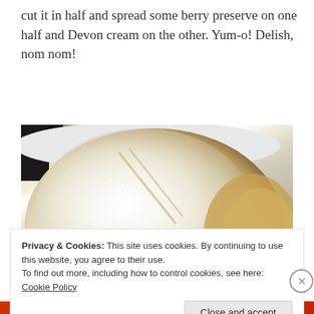cut it in half and spread some berry preserve on one half and Devon cream on the other. Yum-o! Delish, nom nom!
[Figure (photo): Close-up photo of a round bread loaf dusted heavily with white flour/powdered sugar, showing score marks on top, resting on a white plate with golden baked sides visible]
Privacy & Cookies: This site uses cookies. By continuing to use this website, you agree to their use.
To find out more, including how to control cookies, see here: Cookie Policy
Close and accept